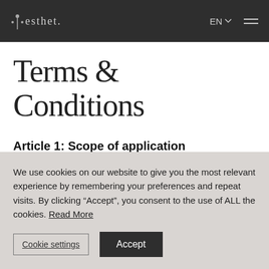esthet. EN Menu
Terms & Conditions
Article 1: Scope of application
These general conditions apply to the purchase of non-
We use cookies on our website to give you the most relevant experience by remembering your preferences and repeat visits. By clicking “Accept”, you consent to the use of ALL the cookies. Read More
Cookie settings  Accept